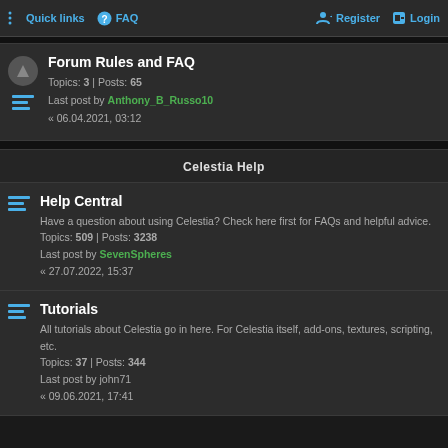Quick links | FAQ | Register | Login
Forum Rules and FAQ
Topics: 3 | Posts: 65
Last post by Anthony_B_Russo10
« 06.04.2021, 03:12
Celestia Help
Help Central
Have a question about using Celestia? Check here first for FAQs and helpful advice.
Topics: 509 | Posts: 3238
Last post by SevenSpheres
« 27.07.2022, 15:37
Tutorials
All tutorials about Celestia go in here. For Celestia itself, add-ons, textures, scripting, etc.
Topics: 37 | Posts: 344
Last post by john71
« 09.06.2021, 17:41